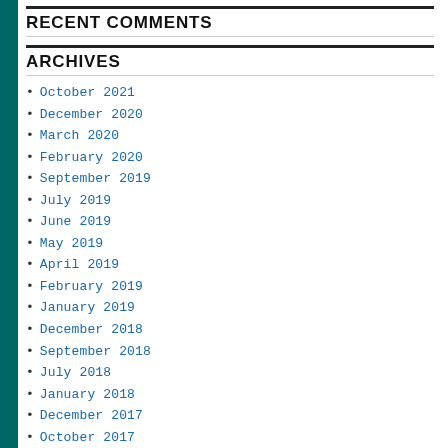RECENT COMMENTS
ARCHIVES
October 2021
December 2020
March 2020
February 2020
September 2019
July 2019
June 2019
May 2019
April 2019
February 2019
January 2019
December 2018
September 2018
July 2018
January 2018
December 2017
October 2017
September 2017